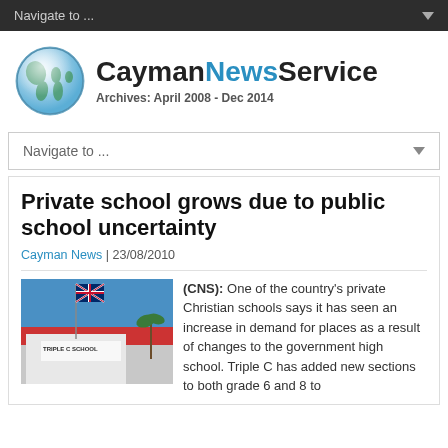Navigate to ...
[Figure (logo): CaymanNewsService logo with globe icon and text 'CaymanNewsService Archives: April 2008 - Dec 2014']
Navigate to ...
Private school grows due to public school uncertainty
Cayman News | 23/08/2010
[Figure (photo): Photo of Triple C School building with a Union Jack flag flying in front, blue sky background]
(CNS): One of the country's private Christian schools says it has seen an increase in demand for places as a result of changes to the government high school. Triple C has added new sections to both grade 6 and 8 to